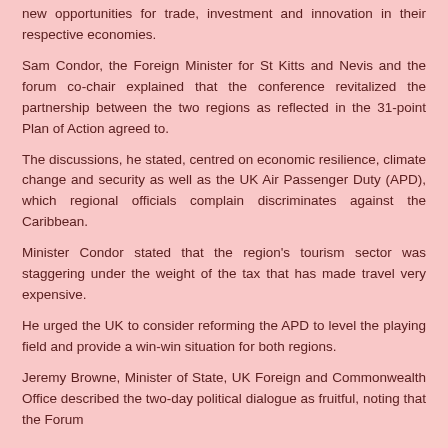new opportunities for trade, investment and innovation in their respective economies.
Sam Condor, the Foreign Minister for St Kitts and Nevis and the forum co-chair explained that the conference revitalized the partnership between the two regions as reflected in the 31-point Plan of Action agreed to.
The discussions, he stated, centred on economic resilience, climate change and security as well as the UK Air Passenger Duty (APD), which regional officials complain discriminates against the Caribbean.
Minister Condor stated that the region's tourism sector was staggering under the weight of the tax that has made travel very expensive.
He urged the UK to consider reforming the APD to level the playing field and provide a win-win situation for both regions.
Jeremy Browne, Minister of State, UK Foreign and Commonwealth Office described the two-day political dialogue as fruitful, noting that the Forum